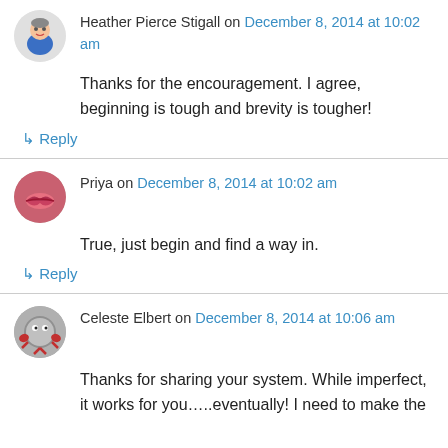Heather Pierce Stigall on December 8, 2014 at 10:02 am
Thanks for the encouragement. I agree, beginning is tough and brevity is tougher!
↳ Reply
Priya on December 8, 2014 at 10:02 am
True, just begin and find a way in.
↳ Reply
Celeste Elbert on December 8, 2014 at 10:06 am
Thanks for sharing your system. While imperfect, it works for you…..eventually! I need to make the